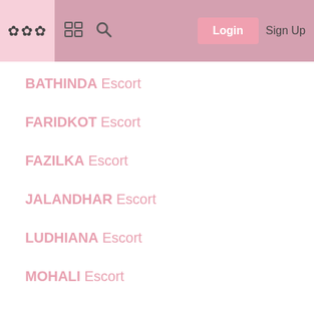Login  Sign Up
BATHINDA Escort
FARIDKOT Escort
FAZILKA Escort
JALANDHAR Escort
LUDHIANA Escort
MOHALI Escort